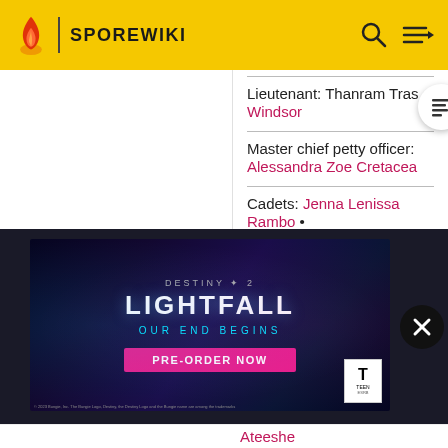SPOREWIKI
Lieutenant: Thanram Tras • Windsor
Master chief petty officer: Alessandra Zoe Cretacea
Cadets: Jenna Lenissa Rambo • Jimmy James
[Figure (screenshot): Destiny 2 Lightfall advertisement banner: OUR END BEGINS - PRE-ORDER NOW]
Ateeshe